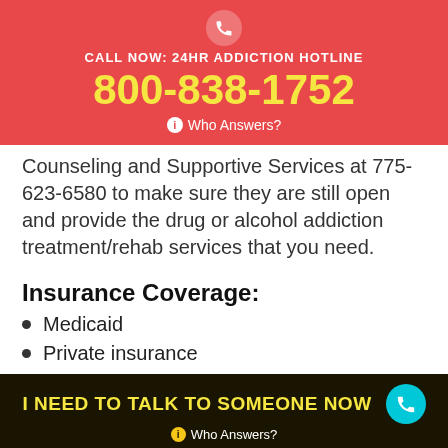CALL NOW: 24HR ADDICTION HOTLINE 800-838-1752 Who Answers?
Counseling and Supportive Services at 775-623-6580 to make sure they are still open and provide the drug or alcohol addiction treatment/rehab services that you need.
Insurance Coverage:
Medicaid
Private insurance
Self-pay options
Financial aid
I NEED TO TALK TO SOMEONE NOW Who Answers?